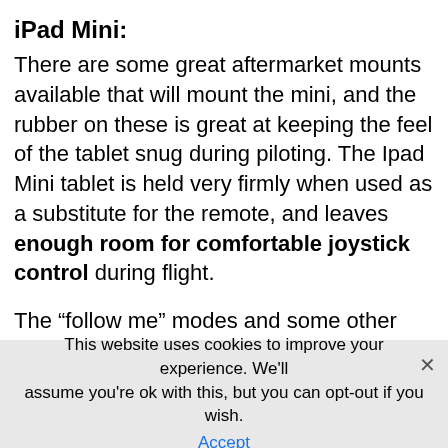iPad Mini:
There are some great aftermarket mounts available that will mount the mini, and the rubber on these is great at keeping the feel of the tablet snug during piloting. The Ipad Mini tablet is held very firmly when used as a substitute for the remote, and leaves enough room for comfortable joystick control during flight.
The “follow me” modes and some other features that the Mavic is widely appreciated for are not available when you are using tablets, but the ease of control is worth the sacrifice for many. Since the Ipad mini is too wide to fit without using the aftermarket mounts, you
This website uses cookies to improve your experience. We’ll assume you’re ok with this, but you can opt-out if you wish. Accept